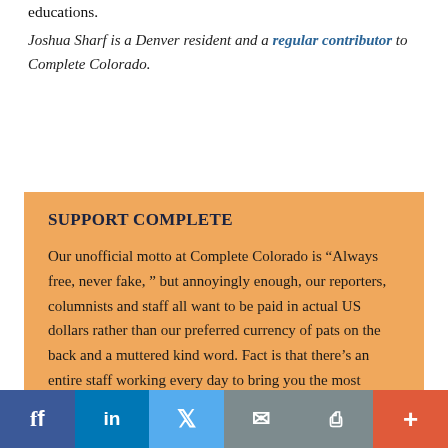educations.
Joshua Sharf is a Denver resident and a regular contributor to Complete Colorado.
SUPPORT COMPLETE
Our unofficial motto at Complete Colorado is “Always free, never fake, ” but annoyingly enough, our reporters, columnists and staff all want to be paid in actual US dollars rather than our preferred currency of pats on the back and a muttered kind word. Fact is that there’s an entire staff working every day to bring you the most timely and relevant political news (updated twice daily) from around the state on Complete’s main page aggregator, as well as top-notch
f  in  [twitter]  [email]  [print]  +